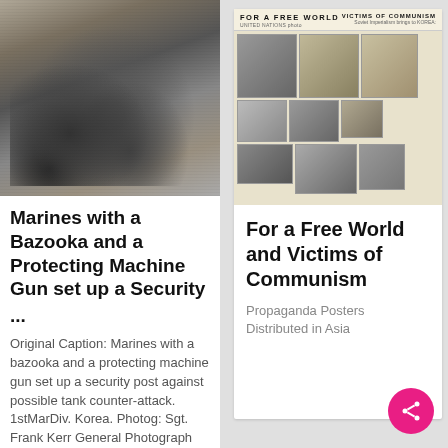[Figure (photo): Black and white photograph of Marines with a bazooka and protecting machine gun setting up a security post, Korea]
Marines with a Bazooka and a Protecting Machine Gun set up a Security
...
Original Caption: Marines with a bazooka and a protecting machine gun set up a security post against possible tank counter-attack. 1stMarDiv. Korea. Photog: Sgt. Frank Kerr General Photograph File of
[Figure (photo): Scanned propaganda poster collage with header 'FOR A FREE WORLD' and 'VICTIMS OF COMMUNISM', containing multiple black and white photographs]
For a Free World and Victims of Communism
Propaganda Posters Distributed in Asia